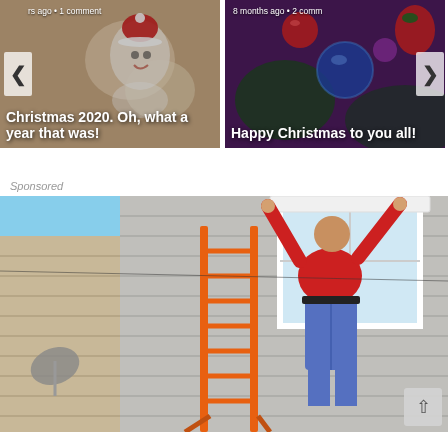[Figure (photo): Blog post card with Christmas cookies photo, showing text 'rs ago · 1 comment' and title 'Christmas 2020. Oh, what a year that was!']
[Figure (photo): Blog post card with Christmas ornaments photo, showing text '8 months ago · 2 comm' and title 'Happy Christmas to you all!']
Sponsored
[Figure (photo): Sponsored image showing a worker in a red shirt on an orange ladder installing a window on a house with gray siding]